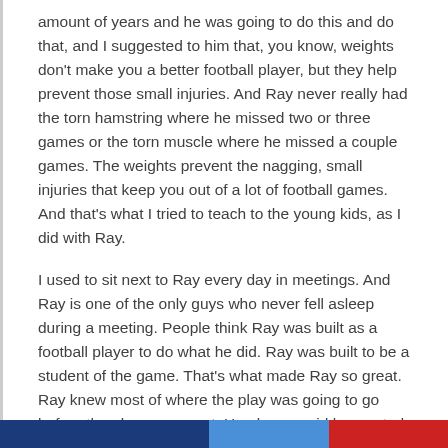amount of years and he was going to do this and do that, and I suggested to him that, you know, weights don't make you a better football player, but they help prevent those small injuries. And Ray never really had the torn hamstring where he missed two or three games or the torn muscle where he missed a couple games. The weights prevent the nagging, small injuries that keep you out of a lot of football games. And that's what I tried to teach to the young kids, as I did with Ray.
I used to sit next to Ray every day in meetings. And Ray is one of the only guys who never fell asleep during a meeting. People think Ray was built as a football player to do what he did. Ray was built to be a student of the game. That's what made Ray so great. Ray knew most of where the play was going to go before the play even went. He always said he wanted to be the greatest, and he worked his tail off to become who he is today.